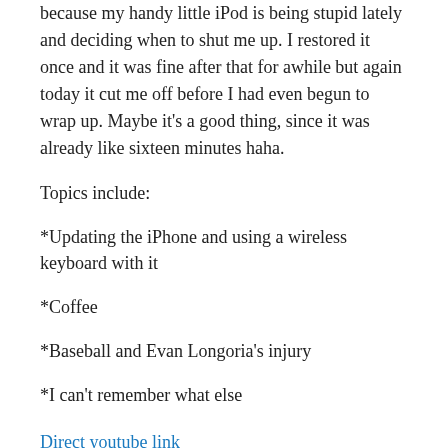because my handy little iPod is being stupid lately and deciding when to shut me up. I restored it once and it was fine after that for awhile but again today it cut me off before I had even begun to wrap up. Maybe it's a good thing, since it was already like sixteen minutes haha.
Topics include:
*Updating the iPhone and using a wireless keyboard with it
*Coffee
*Baseball and Evan Longoria's injury
*I can't remember what else
Direct youtube link
[Figure (screenshot): Thumbnail image showing a YouTube video titled 'Hanging with Ro Episode ...' with a red circle logo containing the letter r on a black background]